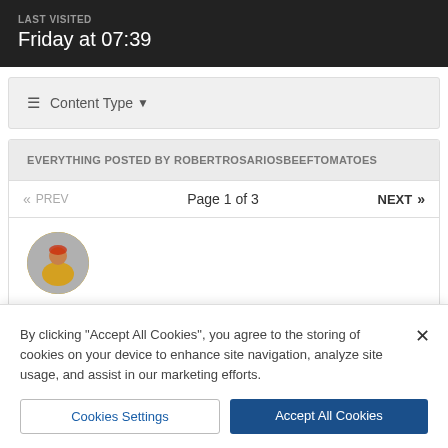LAST VISITED
Friday at 07:39
≡ Content Type ▾
EVERYTHING POSTED BY ROBERTROSARIOSBEEFTOMATOES
« PREV   Page 1 of 3   NEXT »
[Figure (photo): Circular avatar image of a soccer player in a yellow jersey]
By clicking "Accept All Cookies", you agree to the storing of cookies on your device to enhance site navigation, analyze site usage, and assist in our marketing efforts.
Cookies Settings   Accept All Cookies